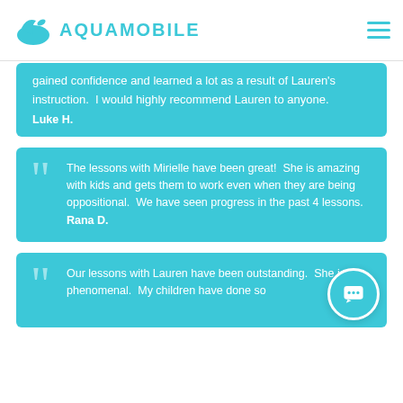AQUAMOBILE
gained confidence and learned a lot as a result of Lauren's instruction.  I would highly recommend Lauren to anyone.
Luke H.
The lessons with Mirielle have been great!  She is amazing with kids and gets them to work even when they are being oppositional.  We have seen progress in the past 4 lessons.
Rana D.
Our lessons with Lauren have been outstanding.  She is phenomenal.  My children have done so